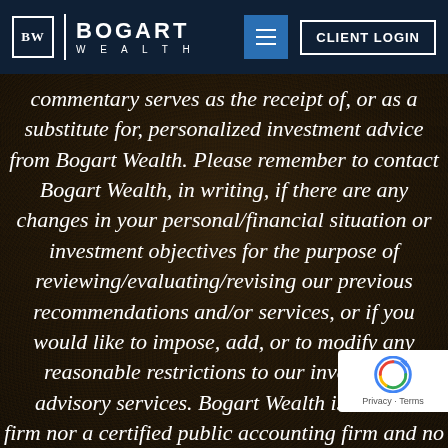BW | BOGART WEALTH — CLIENT LOGIN
commentary serves as the receipt of, or as a substitute for, personalized investment advice from Bogart Wealth. Please remember to contact Bogart Wealth, in writing, if there are any changes in your personal/financial situation or investment objectives for the purpose of reviewing/evaluating/revising our previous recommendations and/or services, or if you would like to impose, add, or to modify any reasonable restrictions to our investment advisory services. Bogart Wealth is neither firm nor a certified public accounting firm and no